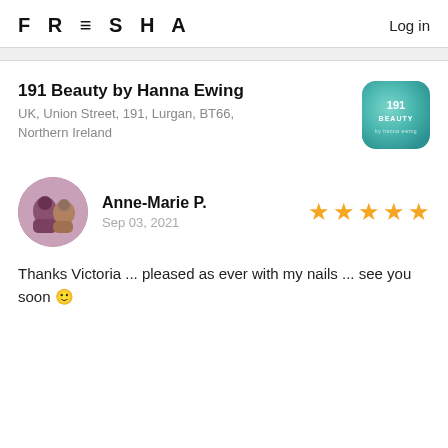FRESHA  Log in
191 Beauty by Hanna Ewing
UK, Union Street, 191, Lurgan, BT66, Northern Ireland
[Figure (logo): 191 Beauty logo — teal/aqua rounded square with text '191 BEAUTY']
[Figure (photo): Circular profile photo of Anne-Marie P. showing two people]
Anne-Marie P.
Sep 03, 2021
★★★★★ (5 stars)
Thanks Victoria ... pleased as ever with my nails ... see you soon 🙂